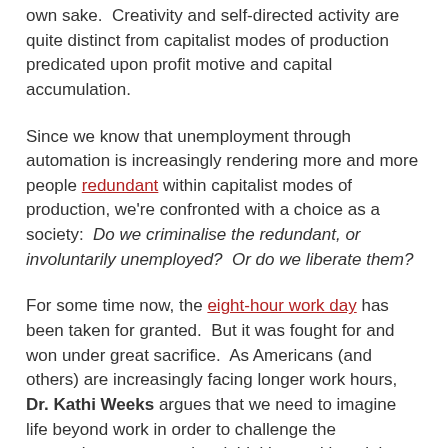own sake.  Creativity and self-directed activity are quite distinct from capitalist modes of production predicated upon profit motive and capital accumulation.
Since we know that unemployment through automation is increasingly rendering more and more people redundant within capitalist modes of production, we're confronted with a choice as a society:  Do we criminalise the redundant, or involuntarily unemployed?  Or do we liberate them?
For some time now, the eight-hour work day has been taken for granted.  But it was fought for and won under great sacrifice.  As Americans (and others) are increasingly facing longer work hours, Dr. Kathi Weeks argues that we need to imagine life beyond work in order to challenge the constraints to conventional thinking and imagining around what